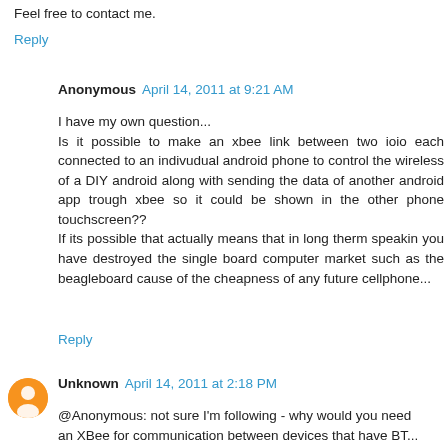Feel free to contact me.
Reply
Anonymous  April 14, 2011 at 9:21 AM
I have my own question...
Is it possible to make an xbee link between two ioio each connected to an indivudual android phone to control the wireless of a DIY android along with sending the data of another android app trough xbee so it could be shown in the other phone touchscreen??
If its possible that actually means that in long therm speakin you have destroyed the single board computer market such as the beagleboard cause of the cheapness of any future cellphone...
Reply
Unknown  April 14, 2011 at 2:18 PM
@Anonymous: not sure I'm following - why would you need an XBee for communication between devices that have BT...